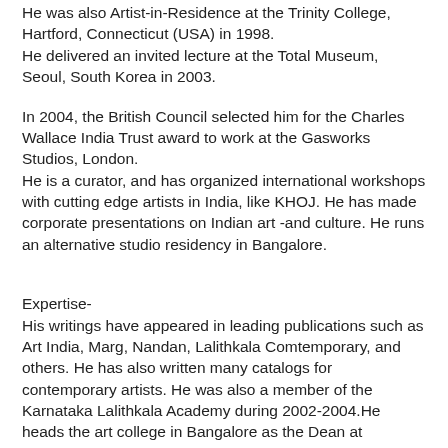He was also Artist-in-Residence at the Trinity College, Hartford, Connecticut (USA) in 1998.
He delivered an invited lecture at the Total Museum, Seoul, South Korea in 2003.
In 2004, the British Council selected him for the Charles Wallace India Trust award to work at the Gasworks Studios, London.
He is a curator, and has organized international workshops with cutting edge artists in India, like KHOJ. He has made corporate presentations on Indian art -and culture. He runs an alternative studio residency in Bangalore.
Expertise-
His writings have appeared in leading publications such as Art India, Marg, Nandan, Lalithkala Comtemporary, and others. He has also written many catalogs for contemporary artists. He was also a member of the Karnataka Lalithkala Academy during 2002-2004.He heads the art college in Bangalore as the Dean at Karnataka Chitrakala Parishath Bangalore.